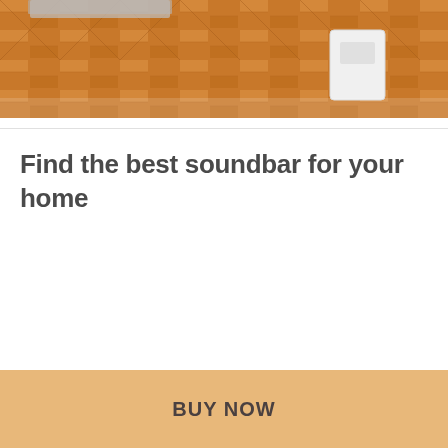[Figure (photo): Top portion of a room scene showing warm wood flooring with a herringbone pattern, a white speaker or soundbar device on the right side, and the bottom edge of a laptop on the left. Warm orange-brown tones.]
Find the best soundbar for your home
BUY NOW